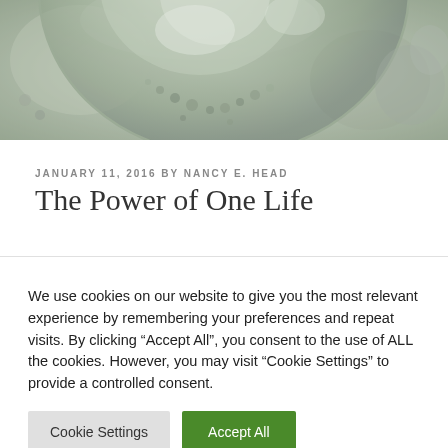[Figure (photo): Microscope image of a cell or embryo, close-up view showing circular cell structure with granular texture against a grey background]
JANUARY 11, 2016 BY NANCY E. HEAD
The Power of One Life
We use cookies on our website to give you the most relevant experience by remembering your preferences and repeat visits. By clicking “Accept All”, you consent to the use of ALL the cookies. However, you may visit “Cookie Settings” to provide a controlled consent.
Cookie Settings | Accept All